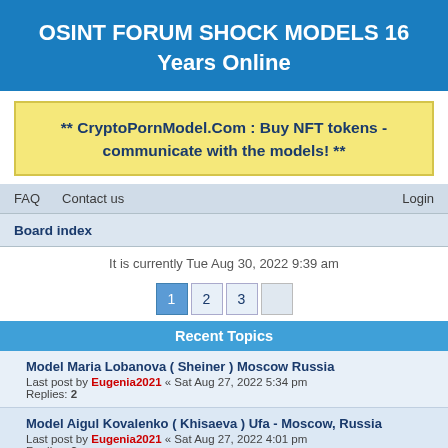OSINT FORUM SHOCK MODELS 16 Years Online
** CryptoPornModel.Com : Buy NFT tokens - communicate with the models! **
FAQ   Contact us   Login
Board index
It is currently Tue Aug 30, 2022 9:39 am
1  2  3
Recent Topics
Model Maria Lobanova ( Sheiner ) Moscow Russia
Last post by Eugenia2021 « Sat Aug 27, 2022 5:34 pm
Replies: 2
Model Aigul Kovalenko ( Khisaeva ) Ufa - Moscow, Russia
Last post by Eugenia2021 « Sat Aug 27, 2022 4:01 pm
Replies: 2
Model and perfumer Arina Prokopenko ( Saiko ) Tomsk - Moscow, Russia